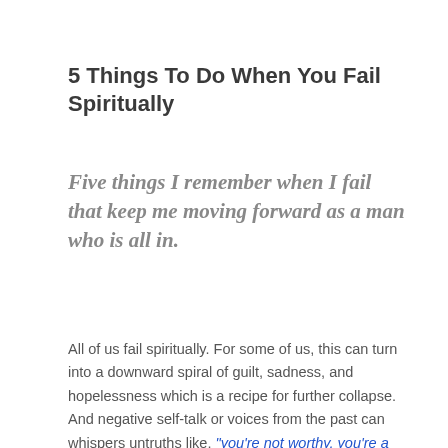5 Things To Do When You Fail Spiritually
Five things I remember when I fail that keep me moving forward as a man who is all in.
All of us fail spiritually. For some of us, this can turn into a downward spiral of guilt, sadness, and hopelessness which is a recipe for further collapse. And negative self-talk or voices from the past can whispers untruths like, "you're not worthy, you're a failure, and you'll never live up to God's expectations." Yet there are better